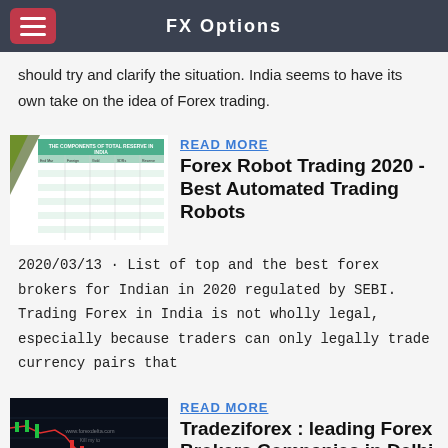FX Options
should try and clarify the situation. India seems to have its own take on the idea of Forex trading.
[Figure (screenshot): Screenshot of a table titled 'THE COMPONENTS OF TOTAL RESERVE IN INDIA']
READ MORE
Forex Robot Trading 2020 - Best Automated Trading Robots
2020/03/13 · List of top and the best forex brokers for Indian in 2020 regulated by SEBI. Trading Forex in India is not wholly legal, especially because traders can only legally trade currency pairs that
[Figure (screenshot): Screenshot of a forex trading chart showing candlestick/line chart on dark background]
READ MORE
Tradeziforex : leading Forex Brokers Companies in Delhi